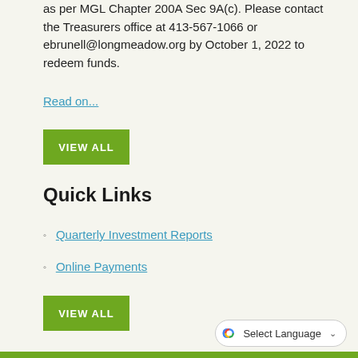as per MGL Chapter 200A Sec 9A(c). Please contact the Treasurers office at 413-567-1066 or ebrunell@longmeadow.org by October 1, 2022 to redeem funds.
Read on...
VIEW ALL
Quick Links
Quarterly Investment Reports
Online Payments
VIEW ALL
[Figure (other): Google Translate widget with 'Select Language' dropdown and Google G logo]